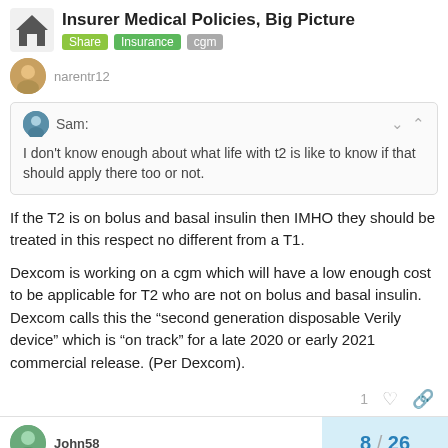Insurer Medical Policies, Big Picture | Share | Insurance | cgm
I don't know enough about what life with t2 is like to know if that should apply there too or not.
If the T2 is on bolus and basal insulin then IMHO they should be treated in this respect no different from a T1.
Dexcom is working on a cgm which will have a low enough cost to be applicable for T2 who are not on bolus and basal insulin. Dexcom calls this the “second generation disposable Verily device” which is “on track” for a late 2020 or early 2021 commercial release. (Per Dexcom).
8 / 26